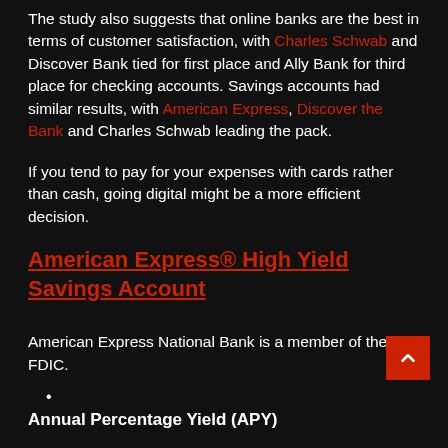The study also suggests that online banks are the best in terms of customer satisfaction, with Charles Schwab and Discover Bank tied for first place and Ally Bank for third place for checking accounts. Savings accounts had similar results, with American Express, Discover the Bank and Charles Schwab leading the pack.
If you tend to pay for your expenses with cards rather than cash, going digital might be a more efficient decision.
American Express® High Yield Savings Account
American Express National Bank is a member of the FDIC.
•
Annual Percentage Yield (APY)